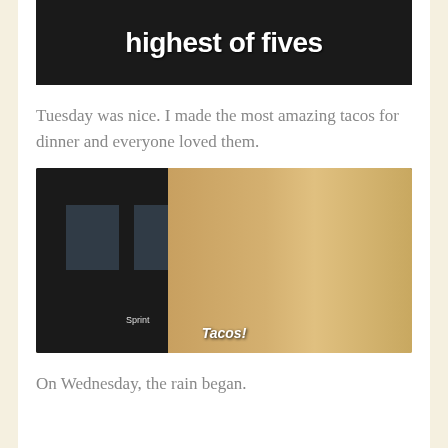[Figure (photo): Dark background image with white bold text reading 'highest of fives' — partial view of a meme or video still]
Tuesday was nice. I made the most amazing tacos for dinner and everyone loved them.
[Figure (photo): A smiling woman with long reddish hair wearing a dark floral dress, fists raised in excitement. Subtitle text reads 'Tacos!' and 'Sprint' watermark visible. Indoor setting with dark door in background.]
On Wednesday, the rain began.